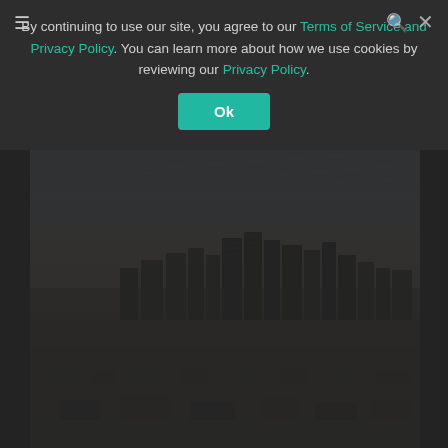By continuing to use our site, you agree to our Terms of Service and Privacy Policy. You can learn more about how we use cookies by reviewing our Privacy Policy.
[Figure (photo): Aerial photograph of a large city skyline (Los Angeles) with skyscrapers in the center, urban sprawl in the foreground, and a hazy sky above.]